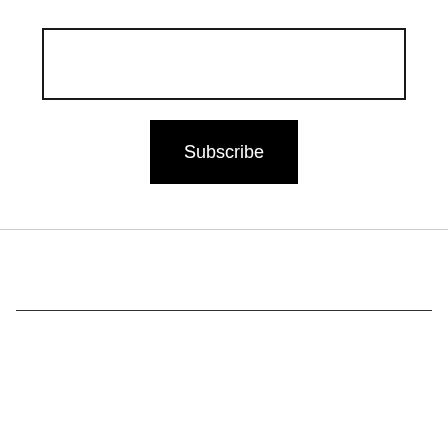[Figure (other): Email subscription form with a text input field and a black Subscribe button]
Updated 10 years ago   Categorized as Microsoft